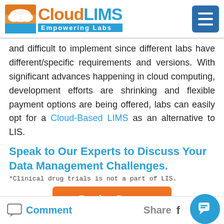[Figure (logo): CloudLIMS Empowering Labs logo with orange and blue branding and hamburger menu icon]
and difficult to implement since different labs have different/specific requirements and versions. With significant advances happening in cloud computing, development efforts are shrinking and flexible payment options are being offered, labs can easily opt for a Cloud-Based LIMS as an alternative to LIS.
Speak to Our Experts to Discuss Your Data Management Challenges.
*Clinical drug trials is not a part of LIS.
[Figure (illustration): Book a Demo button in orange]
Back to Top
Comment   Share f